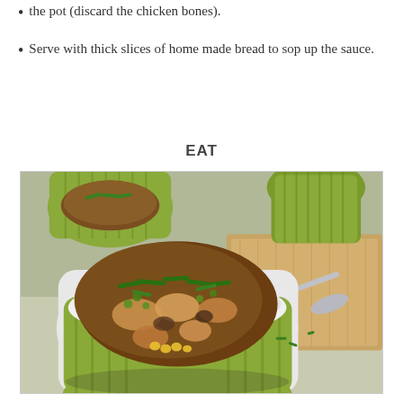the pot (discard the chicken bones).
Serve with thick slices of home made bread to sop up the sauce.
EAT
[Figure (photo): A white and green ribbed ceramic ramekin bowl filled with braised chicken stew topped with chopped green chives and corn, with a smaller similar bowl in the background, a green ceramic pitcher, a wooden cutting board with a spoon, all on a linen tablecloth.]